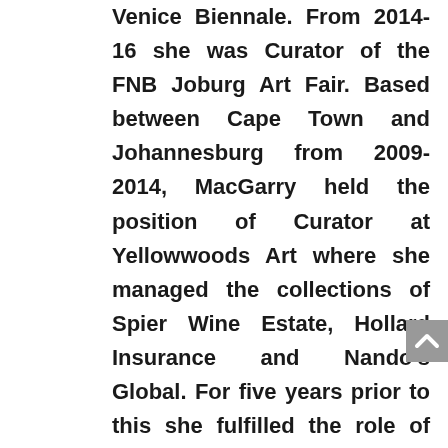Venice Biennale. From 2014-16 she was Curator of the FNB Joburg Art Fair. Based between Cape Town and Johannesburg from 2009-2014, MacGarry held the position of Curator at Yellowwoods Art where she managed the collections of Spier Wine Estate, Hollard Insurance and Nando's Global. For five years prior to this she fulfilled the role of David Krut Projects Gallery Director.
Business Development Director, Makgati Molebatsi has over 30 years experience in marketing and integrated communications gained from various industries; FMCG, retail, energy, rail and advertising. She graduated BA Social Sciences from The University of the North and obtained a Certificate in...